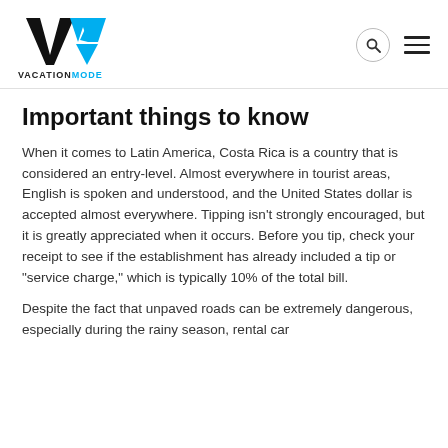VACATIONMODE
Important things to know
When it comes to Latin America, Costa Rica is a country that is considered an entry-level. Almost everywhere in tourist areas, English is spoken and understood, and the United States dollar is accepted almost everywhere. Tipping isn't strongly encouraged, but it is greatly appreciated when it occurs. Before you tip, check your receipt to see if the establishment has already included a tip or "service charge," which is typically 10% of the total bill.
Despite the fact that unpaved roads can be extremely dangerous, especially during the rainy season, rental car